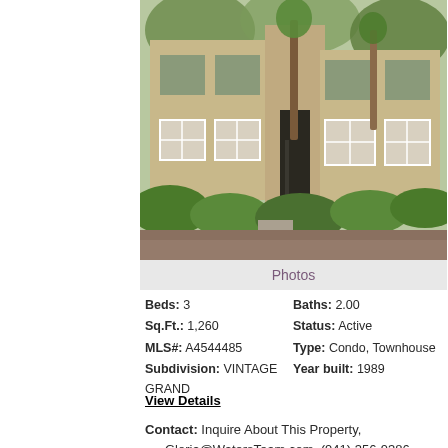[Figure (photo): Exterior photo of a two-story condo/townhouse building with beige/tan stucco walls, white-framed windows, palm trees, and green landscaping/shrubs in the foreground. Walkway visible leading to entrance.]
Photos
Beds: 3   Baths: 2.00
Sq.Ft.: 1,260   Status: Active
MLS#: A4544485   Type: Condo, Townhouse
Subdivision: VINTAGE GRAND   Year built: 1989
View Details
Contact: Inquire About This Property, Gloria@WatersTeam.com, (941) 356-9386